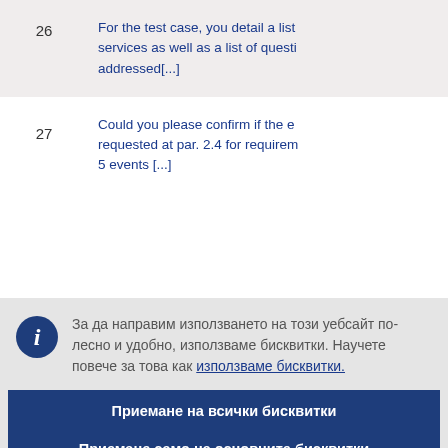| # | Text |
| --- | --- |
| 26 | For the test case, you detail a list services as well as a list of questi addressed[...] |
| 27 | Could you please confirm if the e requested at par. 2.4 for requirem 5 events [...] |
За да направим използването на този уебсайт по-лесно и удобно, използваме бисквитки. Научете повече за това как използваме бисквитки.
Приемане на всички бисквитки
Приемане само на основните бисквитки